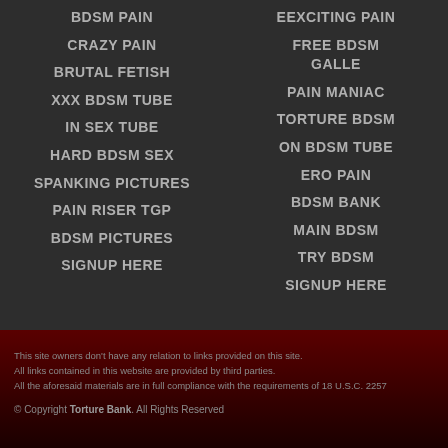BDSM PAIN
EEXCITING PAIN
CRAZY PAIN
FREE BDSM GALLE...
BRUTAL FETISH
PAIN MANIAC
XXX BDSM TUBE
TORTURE BDSM
IN SEX TUBE
ON BDSM TUBE
HARD BDSM SEX
ERO PAIN
SPANKING PICTURES
BDSM BANK
PAIN RISER TGP
MAIN BDSM
BDSM PICTURES
TRY BDSM
SIGNUP HERE
SIGNUP HERE
This site owners don't have any relation to links provided on this site.
All links contained in this website are provided by third parties.
All the aforesaid materials are in full compliance with the requirements of 18 U.S.C. 2257
© Copyright Torture Bank. All Rights Reserved